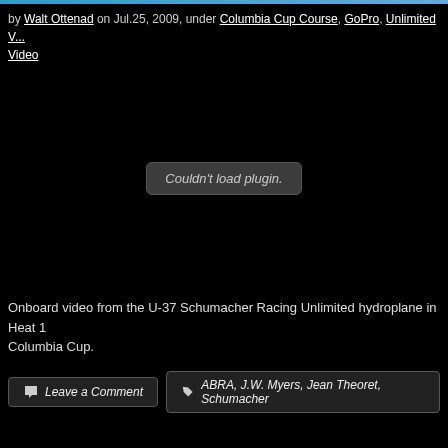by Walt Ottenad on Jul.25, 2009, under Columbia Cup Course, GoPro, Unlimited Video
[Figure (screenshot): Black video embed area showing 'Couldn't load plugin.' error message in center]
Onboard video from the U-37 Schumacher Racing Unlimited hydroplane in Heat 1 Columbia Cup.
Leave a Comment   ABRA, J.W. Myers, Jean Theoret, Schumacher